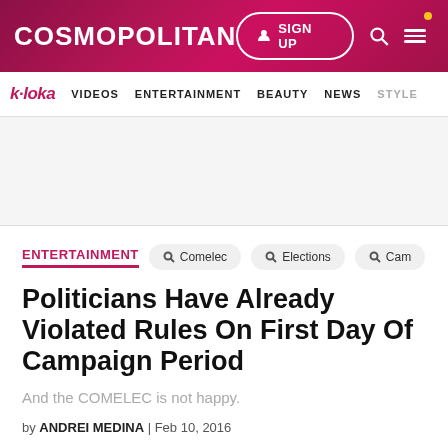COSMOPOLITAN
k·loka | VIDEOS | ENTERTAINMENT | BEAUTY | NEWS | STYLE
ENTERTAINMENT
Politicians Have Already Violated Rules On First Day Of Campaign Period
And the COMELEC is not happy.
by ANDREI MEDINA | Feb 10, 2016